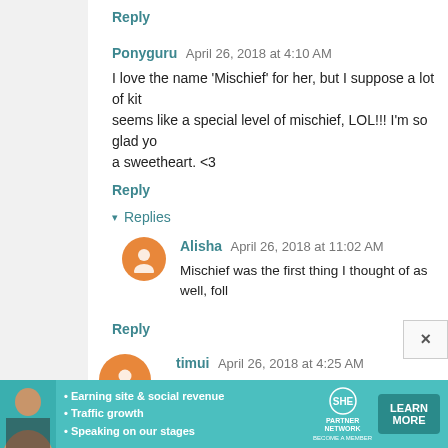Reply
Ponyguru  April 26, 2018 at 4:10 AM
I love the name 'Mischief' for her, but I suppose a lot of kit seems like a special level of mischief, LOL!!! I'm so glad yo a sweetheart. <3
Reply
▾  Replies
Alisha  April 26, 2018 at 11:02 AM
Mischief was the first thing I thought of as well, foll
Reply
timui  April 26, 2018 at 4:25 AM
My 7 year old loves to tell people that when he gets a cat h :)
Reply
[Figure (infographic): SHE Partner Network advertisement banner with photo of woman, bullet points about earning site & social revenue, traffic growth, speaking on stages, SHE logo, and LEARN MORE button]